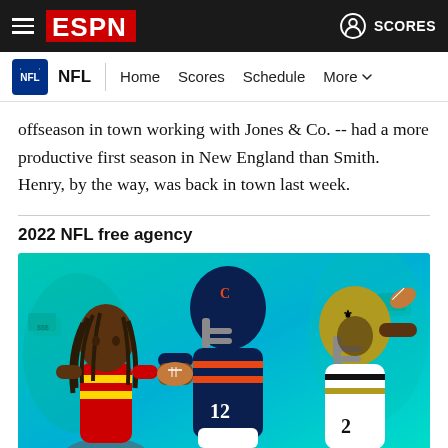ESPN — NFL | Home | Scores | Schedule | More
offseason in town working with Jones & Co. -- had a more productive first season in New England than Smith. Henry, by the way, was back in town last week.
2022 NFL free agency
[Figure (photo): Promotional image for 2022 NFL free agency featuring three football players: a Kansas City Chiefs player on the left, a Chicago Bears running back (#12) in the center carrying the ball, and a New Orleans Saints quarterback (#2) on the right, set against a teal/green background with money graphics.]